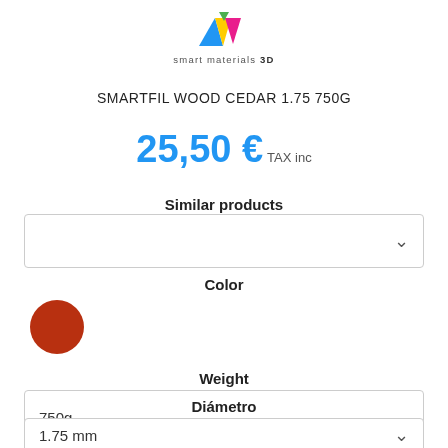[Figure (logo): Smart Materials 3D logo with colorful geometric triangles above the text 'smart materials 3D']
SMARTFIL WOOD CEDAR 1.75 750G
25,50 € TAX inc
Similar products
[Figure (other): Dropdown selector for similar products, empty with chevron]
Color
[Figure (other): Cedar wood color swatch - dark reddish brown circle]
Weight
[Figure (other): Dropdown selector showing '750g' with chevron]
Diámetro
[Figure (other): Dropdown selector showing '1.75 mm' with chevron, partially visible]